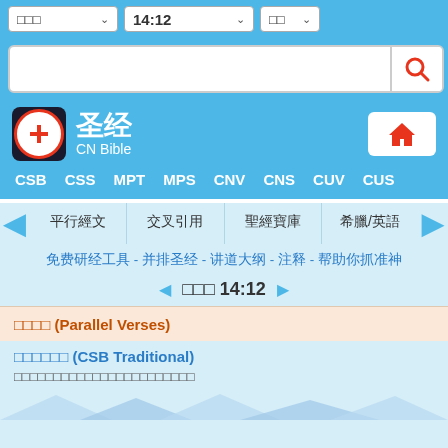□□□  14:12  □□ (dropdown selectors)
[Figure (screenshot): Search input bar with magnifying glass icon]
圣经 CN Bible
CSB  CSS  MPT  MPS  CNV  CNS  CUV  CUS
平行經文  交叉引用  聖經寶庫  希臘/英語
免费研经工具 - 并排圣经 - 讲道大纲 - 注释 - 帮助你抓准神
◄ □□□ 14:12 ►
□□□□ (Parallel Verses)
□□□□□□ (CSB Traditional)
□□□□□□□□□□□□□□□□□□□□□□□